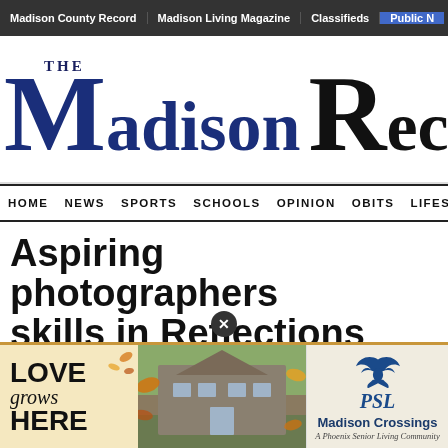Madison County Record | Madison Living Magazine | Classifieds | Public N
THE Madison Record
HOME  NEWS  SPORTS  SCHOOLS  OPINION  OBITS  LIFEST
Aspiring photographers skills in Reflections
[Figure (photo): Advertisement banner for Madison Crossings, a Phoenix Senior Living Community. Left side shows 'LOVE grows HERE' text. Middle shows an aerial photo of a residential building. Right side shows PSL phoenix logo and Madison Crossings text.]